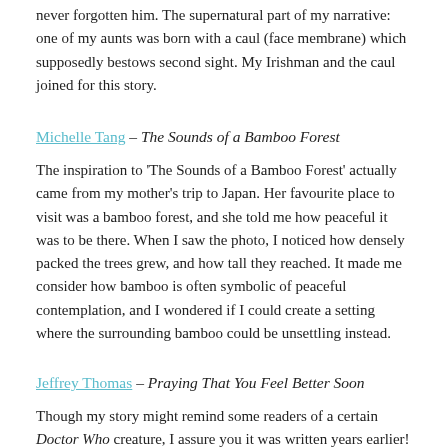never forgotten him. The supernatural part of my narrative: one of my aunts was born with a caul (face membrane) which supposedly bestows second sight. My Irishman and the caul joined for this story.
Michelle Tang – The Sounds of a Bamboo Forest
The inspiration to 'The Sounds of a Bamboo Forest' actually came from my mother's trip to Japan. Her favourite place to visit was a bamboo forest, and she told me how peaceful it was to be there. When I saw the photo, I noticed how densely packed the trees grew, and how tall they reached. It made me consider how bamboo is often symbolic of peaceful contemplation, and I wondered if I could create a setting where the surrounding bamboo could be unsettling instead.
Jeffrey Thomas – Praying That You Feel Better Soon
Though my story might remind some readers of a certain Doctor Who creature, I assure you it was written years earlier! Like my character Will, my maternal grandfather was employed by his town's Department of Public Works. My inspiration for the setting was Pine Grove Cemetery in Westborough, Massachusetts, where my parents and other relatives are interred. Fortunately,